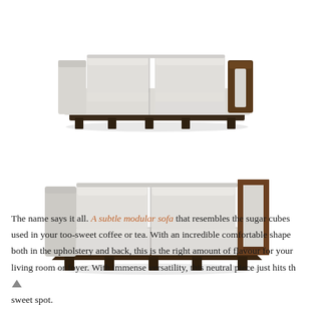[Figure (photo): Top-down product photo of a light grey modular sofa (front view) with dark wooden legs and a dark wooden armrest on the right side, three-section modular design with adjustable backrests, on white background.]
[Figure (photo): Angled/perspective product photo of the same light grey modular sofa with dark wooden frame visible on the right side armrest, shown at a slight angle to reveal the side profile, on white background.]
The name says it all. A subtle modular sofa that resembles the sugar cubes used in your too-sweet coffee or tea. With an incredible comfortable shape both in the upholstery and back, this is the right amount of flavour for your living room or foyer. With immense versatility, this neutral piece just hits the sweet spot.